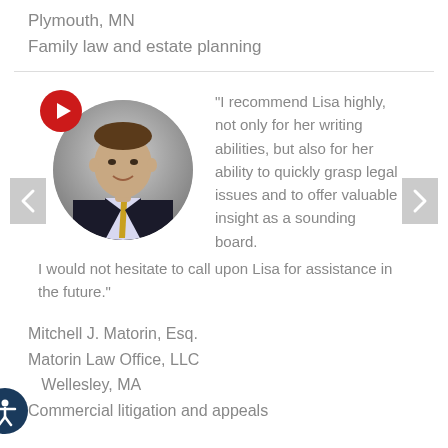Plymouth, MN
Family law and estate planning
[Figure (photo): Headshot of man in suit and tie, circular crop, with a red play button overlay in upper-left]
"I recommend Lisa highly, not only for her writing abilities, but also for her ability to quickly grasp legal issues and to offer valuable insight as a sounding board. I would not hesitate to call upon Lisa for assistance in the future."
Mitchell J. Matorin, Esq.
Matorin Law Office, LLC
Wellesley, MA
Commercial litigation and appeals